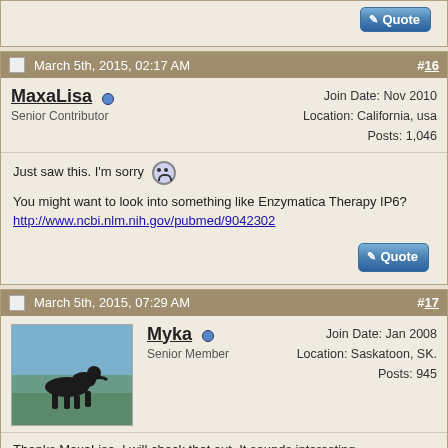[partial post at top with Quote button]
March 5th, 2015, 02:17 AM  #16
MaxaLisa  Senior Contributor  Join Date: Nov 2010  Location: California, usa  Posts: 1,046
Just saw this. I'm sorry

You might want to look into something like Enzymatica Therapy IP6?
http://www.ncbi.nlm.nih.gov/pubmed/9042302
March 5th, 2015, 07:29 AM  #17
[Figure (photo): Dog silhouette avatar photo with blue sky and water background]
Myka  Senior Member  Join Date: Jan 2008  Location: Saskatoon, SK.  Posts: 945
Thanks MaxaLisa, I will check that out. It sounds interesting.

I guess it's time for an update. The lump has continued to get smaller, and there is probably 75% reduction from the very first photo (when the abscess was leaking). I have no idea how much of that was swelling, how much was abscess, and how much was tumor (if there is tumor). If there is tumor, the tumor itself shouldn't be shrinking. There is no heat, swelling, or redness at this point.